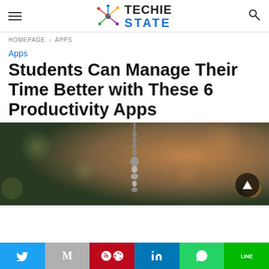TECHIE STATE
HOMEPAGE > APPS
Apps
Students Can Manage Their Time Better with These 6 Productivity Apps
[Figure (photo): Close-up photo of a hanging metal chain/pendulum against a blurred bokeh background with warm brown and green tones. A dark circular button with a triangle/play icon appears in the lower right.]
[Figure (infographic): Social sharing bar with six buttons: Twitter (blue), Gmail (gray), Pinterest (red), LinkedIn (blue), WhatsApp (green), Line (green)]